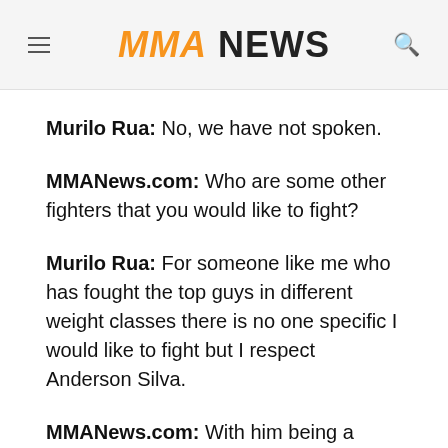MMA NEWS
Murilo Rua: No, we have not spoken.
MMANews.com: Who are some other fighters that you would like to fight?
Murilo Rua: For someone like me who has fought the top guys in different weight classes there is no one specific I would like to fight but I respect Anderson Silva.
MMANews.com: With him being a former training partner would that get in the way of fighting him?
Murilo Rua: No, we are both professionals and I